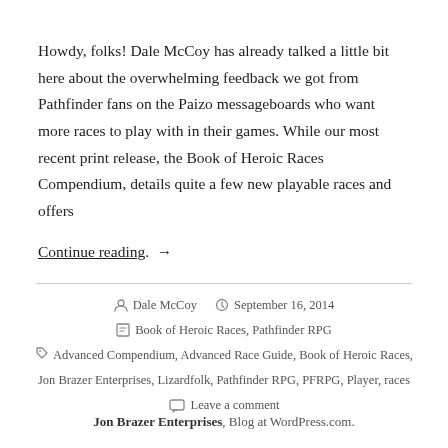Howdy, folks! Dale McCoy has already talked a little bit here about the overwhelming feedback we got from Pathfinder fans on the Paizo messageboards who want more races to play with in their games. While our most recent print release, the Book of Heroic Races Compendium, details quite a few new playable races and offers
Continue reading. →
Dale McCoy  September 16, 2014  Book of Heroic Races, Pathfinder RPG  Advanced Compendium, Advanced Race Guide, Book of Heroic Races, Jon Brazer Enterprises, Lizardfolk, Pathfinder RPG, PFRPG, Player, races  Leave a comment
Jon Brazer Enterprises, Blog at WordPress.com.